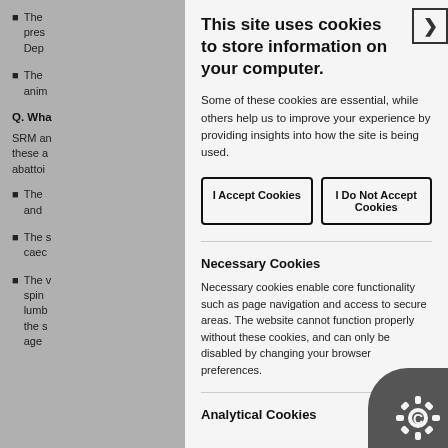The pres Dep
The anim
Q. Wha
SRM an these a abatto
The and
The caec
The spin lumb the s age
This site uses cookies to store information on your computer.
Some of these cookies are essential, while others help us to improve your experience by providing insights into how the site is being used.
I Accept Cookies
I Do Not Accept Cookies
Necessary Cookies
Necessary cookies enable core functionality such as page navigation and access to secure areas. The website cannot function properly without these cookies, and can only be disabled by changing your browser preferences.
Analytical Cookies